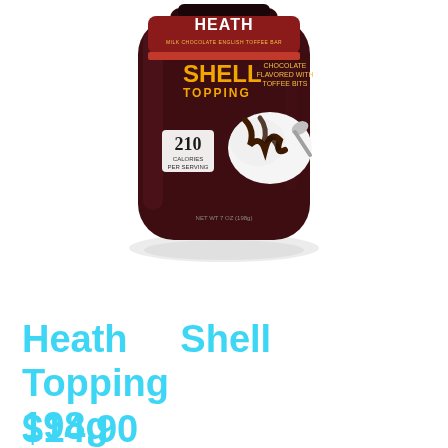[Figure (photo): Heath Shell Topping 198g product bottle with dark maroon/brown bottle body, Heath logo at top, SHELL TOPPING text in gold/yellow, chocolate sauce drizzling over ice cream image on label, 210 calories per serving badge, with reflection shadow below bottle]
Sold Out
Heath Shell Topping 198g
$14.90